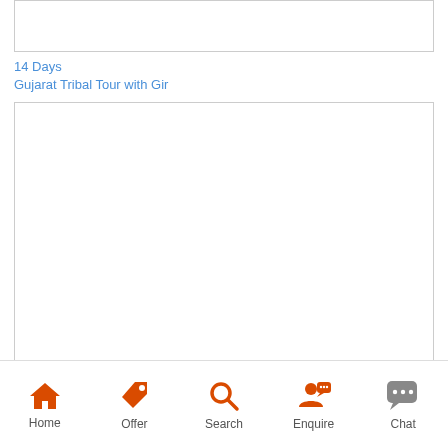[Figure (photo): Top image placeholder box (empty white box with border)]
14 Days
Gujarat Tribal Tour with Gir
[Figure (photo): Main large image placeholder box (empty white box with border)]
Home | Offer | Search | Enquire | Chat